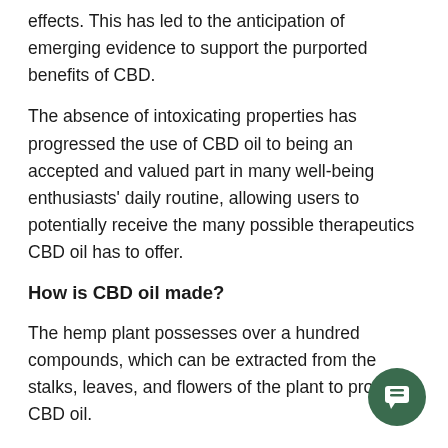effects. This has led to the anticipation of emerging evidence to support the purported benefits of CBD.
The absence of intoxicating properties has progressed the use of CBD oil to being an accepted and valued part in many well-being enthusiasts' daily routine, allowing users to potentially receive the many possible therapeutics CBD oil has to offer.
How is CBD oil made?
The hemp plant possesses over a hundred compounds, which can be extracted from the stalks, leaves, and flowers of the plant to produce CBD oil.
In essence, there are three categories of CBD oils which differentiate themselves depending on the compounds chosen for extraction from the hemp plant, these are,
[Figure (other): Green circular chat widget icon in the bottom right corner]